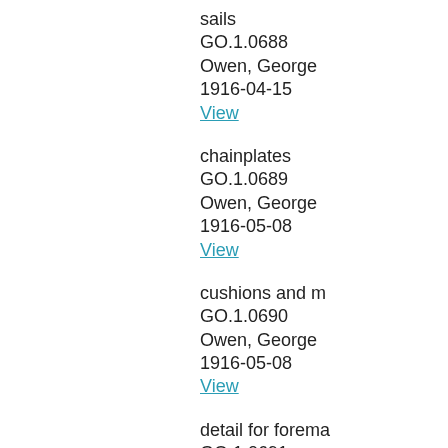sails
GO.1.0688
Owen, George
1916-04-15
View
chainplates
GO.1.0689
Owen, George
1916-05-08
View
cushions and m
GO.1.0690
Owen, George
1916-05-08
View
detail for forema
GO.1.0691
1916-05-11
View
detail of main m
GO.1.0692
1916-05-11